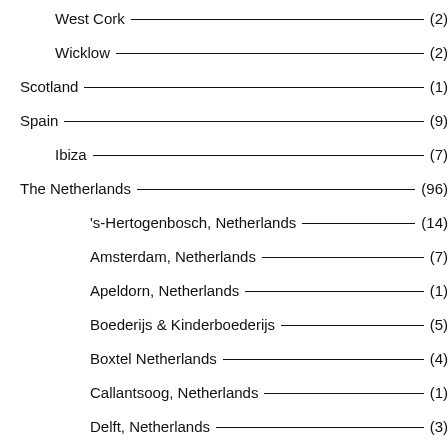West Cork (2)
Wicklow (2)
Scotland (1)
Spain (9)
Ibiza (7)
The Netherlands (96)
's-Hertogenbosch, Netherlands (14)
Amsterdam, Netherlands (7)
Apeldorn, Netherlands (1)
Boederijs & Kinderboederijs (5)
Boxtel Netherlands (4)
Callantsoog, Netherlands (1)
Delft, Netherlands (3)
Den Haag, the Netherlands (2)
Eindhoven, Netherlands (4)